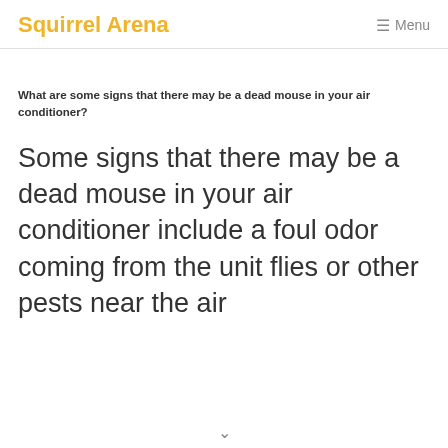Squirrel Arena  ☰ Menu
What are some signs that there may be a dead mouse in your air conditioner?
Some signs that there may be a dead mouse in your air conditioner include a foul odor coming from the unit flies or other pests near the air